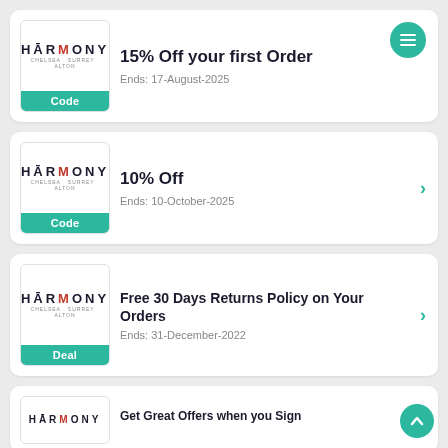[Figure (logo): Harmony brand logo with teal Code badge - 15% Off your first Order, Ends: 17-August-2025]
15% Off your first Order
Ends: 17-August-2025
[Figure (logo): Harmony brand logo with teal Code badge - 10% Off, Ends: 10-October-2025]
10% Off
Ends: 10-October-2025
[Figure (logo): Harmony brand logo with teal Deal badge - Free 30 Days Returns Policy on Your Orders, Ends: 31-December-2022]
Free 30 Days Returns Policy on Your Orders
Ends: 31-December-2022
Get Great Offers when you Sign